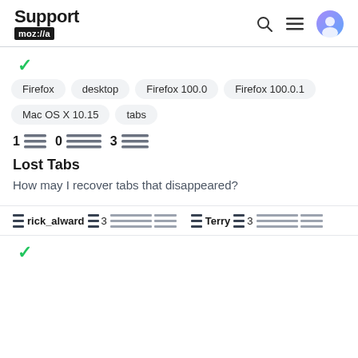Support mozilla // (with search, menu, avatar icons)
✓ (checkmark)
Firefox
desktop
Firefox 100.0
Firefox 100.0.1
Mac OS X 10.15
tabs
1 [bars] 0 [bars] 3 [bars]
Lost Tabs
How may I recover tabs that disappeared?
rick_alward 3 [bars]   Terry 3 [bars]
✓ (checkmark)